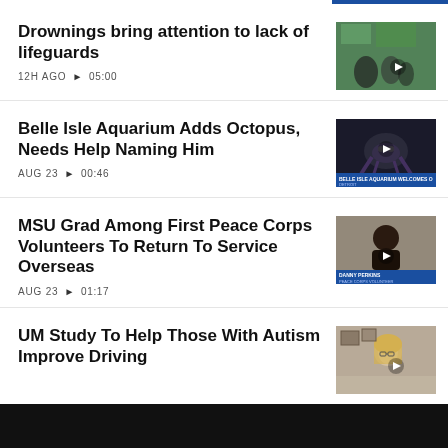Drownings bring attention to lack of lifeguards
12H AGO ▶ 05:00
[Figure (photo): Crowd scene at outdoor venue with people in green background]
Belle Isle Aquarium Adds Octopus, Needs Help Naming Him
AUG 23 ▶ 00:46
[Figure (photo): Dark underwater image of octopus with Belle Isle Aquarium lower-third graphic]
MSU Grad Among First Peace Corps Volunteers To Return To Service Overseas
AUG 23 ▶ 01:17
[Figure (photo): Man in room with Peace Corps volunteer lower-third showing DANNY PERKINS]
UM Study To Help Those With Autism Improve Driving
[Figure (photo): Older woman with glasses in office/room setting]